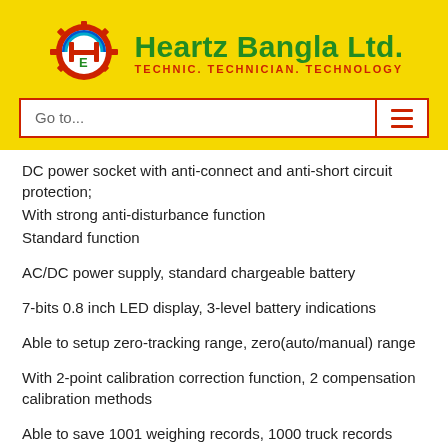[Figure (logo): Heartz Bangla Ltd. logo with gear and H icon, tagline: Technic. Technician. Technology]
Go to...
DC power socket with anti-connect and anti-short circuit protection;
With strong anti-disturbance function
Standard function
AC/DC power supply, standard chargeable battery
7-bits 0.8 inch LED display, 3-level battery indications
Able to setup zero-tracking range, zero(auto/manual) range
With 2-point calibration correction function, 2 compensation calibration methods
Able to save 1001 weighing records, 1000 truck records